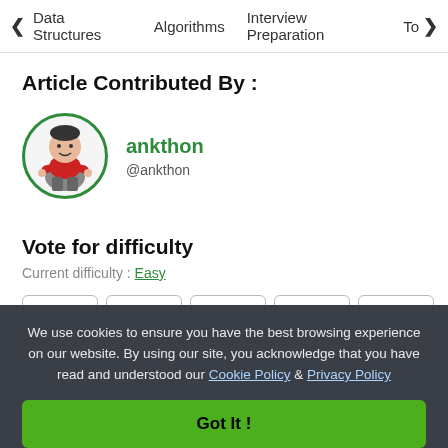< Data Structures   Algorithms   Interview Preparation   To>
Article Contributed By :
[Figure (illustration): Avatar of user ankthon: cartoon character in red shirt with hands on hips, inside a green circle border]
ankthon
@ankthon
Vote for difficulty
Current difficulty : Easy
Easy   Normal   Medium   Hard   Expert
We use cookies to ensure you have the best browsing experience on our website. By using our site, you acknowledge that you have read and understood our Cookie Policy & Privacy Policy
Got It !